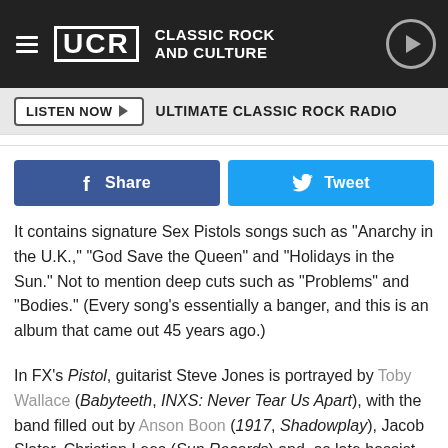UCR CLASSIC ROCK AND CULTURE
LISTEN NOW ▶  ULTIMATE CLASSIC ROCK RADIO
Share  Tweet
It contains signature Sex Pistols songs such as "Anarchy in the U.K.," "God Save the Queen" and "Holidays in the Sun." Not to mention deep cuts such as "Problems" and "Bodies." (Every song's essentially a banger, and this is an album that came out 45 years ago.)
In FX's Pistol, guitarist Steve Jones is portrayed by Toby Wallace (Babyteeth, INXS: Never Tear Us Apart), with the band filled out by Anson Boon (1917, Shadowplay), Jacob Slater, Christian Lees (Sun Records) and, as late bassist Sid Vicious, Louis Partridge (Enola Holmes). Maisie Williams